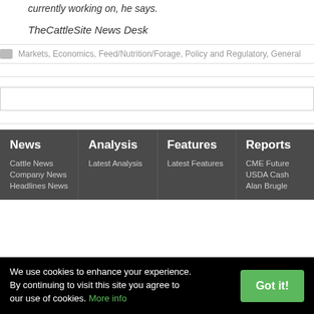currently working on, he says.
TheCattleSite News Desk
Markets, Economics, Feed/Nutrition/Forage, Policy and Regulatory, General
News
Cattle News
Company News
Headlines News
Analysis
Latest Analysis
Features
Latest Features
Reports
CME Future
USDA Cash
Alan Brugle
We use cookies to enhance your experience. By continuing to visit this site you agree to our use of cookies. More info